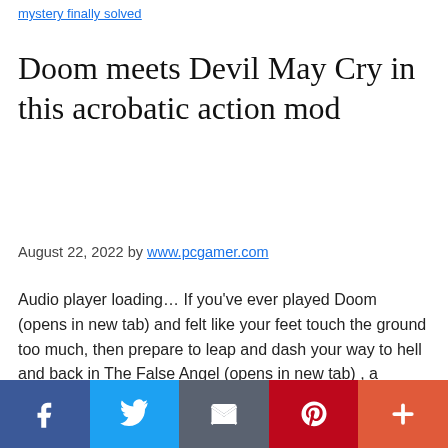mystery finally solved
Doom meets Devil May Cry in this acrobatic action mod
August 22, 2022 by www.pcgamer.com
Audio player loading… If you've ever played Doom (opens in new tab) and felt like your feet touch the ground too much, then prepare to leap and dash your way to hell and back in The False Angel (opens in new tab) , a spectacular mod for Doom II that's launching later this week. The mod has you assume the role of Victoria Noire, a "once regular human"